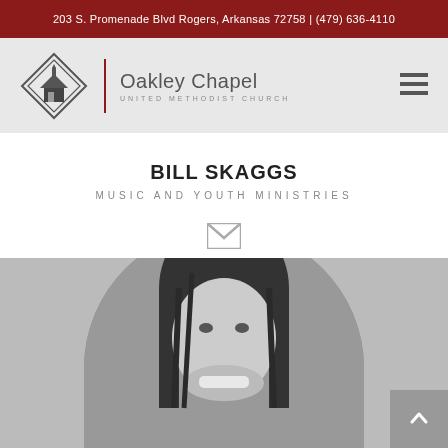203 S. Promenade Blvd Rogers, Arkansas 72758 | (479) 636-4110
[Figure (logo): Oakley Chapel United Methodist Church logo with diamond-shaped church icon and text]
BILL SKAGGS
MUSIC AND YOUTH MINISTRIES
[Figure (illustration): Email envelope icon in grey]
[Figure (photo): Black and white circular portrait photo of Bill Skaggs, a person with dark hair, smiling]